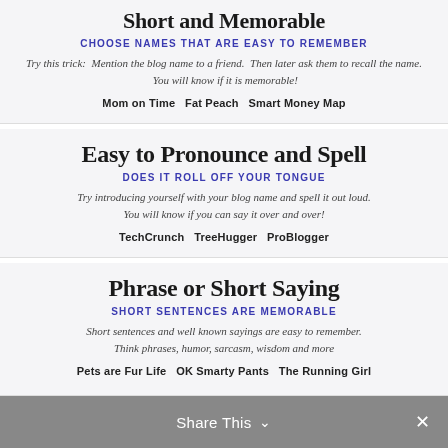Short and Memorable
CHOOSE NAMES THAT ARE EASY TO REMEMBER
Try this trick: Mention the blog name to a friend. Then later ask them to recall the name. You will know if it is memorable!
Mom on Time   Fat Peach   Smart Money Map
Easy to Pronounce and Spell
DOES IT ROLL OFF YOUR TONGUE
Try introducing yourself with your blog name and spell it out loud. You will know if you can say it over and over!
TechCrunch   TreeHugger   ProBlogger
Phrase or Short Saying
SHORT SENTENCES ARE MEMORABLE
Short sentences and well known sayings are easy to remember. Think phrases, humor, sarcasm, wisdom and more
Pets are Fur Life   OK Smarty Pants   The Running Girl
Share This ∨   ✕